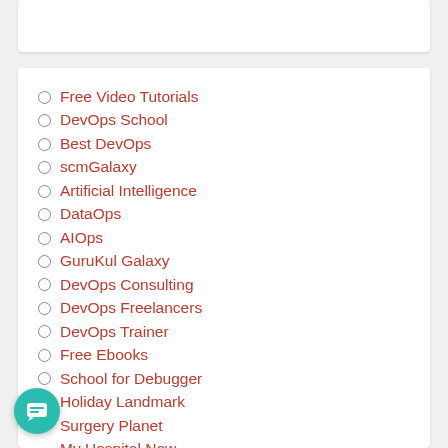Free Video Tutorials
DevOps School
Best DevOps
scmGalaxy
Artificial Intelligence
DataOps
AIOps
GuruKul Galaxy
DevOps Consulting
DevOps Freelancers
DevOps Trainer
Free Ebooks
School for Debugger
Holiday Landmark
Surgery Planet
My Hospital Now
My Medic Plus